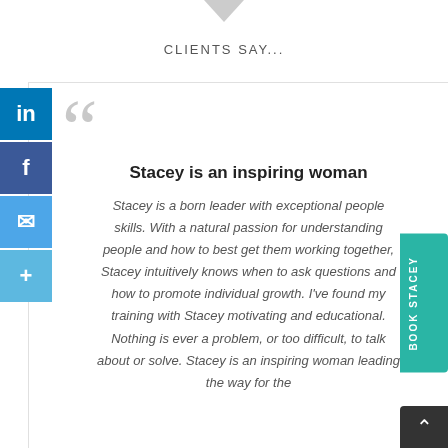CLIENTS SAY...
Stacey is an inspiring woman
Stacey is a born leader with exceptional people skills. With a natural passion for understanding people and how to best get them working together, Stacey intuitively knows when to ask questions and how to promote individual growth. I've found my training with Stacey motivating and educational. Nothing is ever a problem, or too difficult, to talk about or solve. Stacey is an inspiring woman leading the way for the